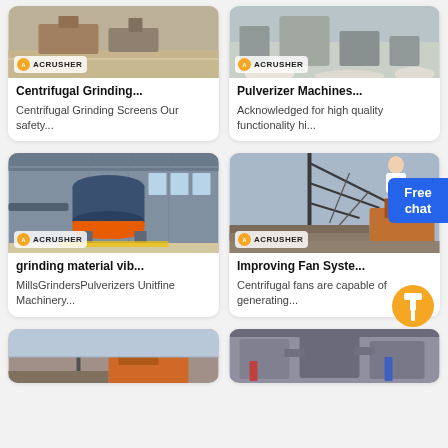[Figure (photo): Centrifugal grinding machine in industrial setting with Acrusher logo badge]
Centrifugal Grinding...
Centrifugal Grinding Screens Our safety...
[Figure (photo): Pulverizer machinery in warehouse with Acrusher logo badge]
Pulverizer Machines...
Acknowledged for high quality functionality hi...
[Figure (photo): Large industrial grinding mill inside factory building with Acrusher logo badge]
grinding material vib...
MillsGrindersPulverizers Unitfine Machinery...
[Figure (photo): Crane and conveyor equipment with Acrusher logo badge]
Improving Fan Syste...
Centrifugal fans are capable of generating...
[Figure (photo): Mining/construction crane equipment - partially visible]
[Figure (photo): Industrial ventilation/fan system in factory - partially visible]